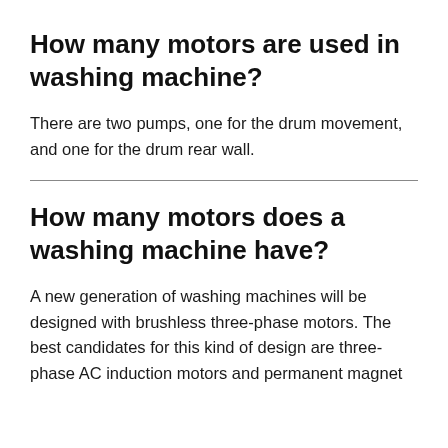How many motors are used in washing machine?
There are two pumps, one for the drum movement, and one for the drum rear wall.
How many motors does a washing machine have?
A new generation of washing machines will be designed with brushless three-phase motors. The best candidates for this kind of design are three-phase AC induction motors and permanent magnet